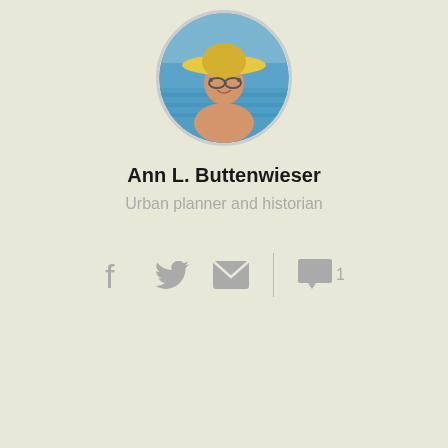[Figure (photo): Circular profile photo of a woman wearing a yellow sun hat and sunglasses, smiling at a swimming pool]
Ann L. Buttenwieser
Urban planner and historian
[Figure (infographic): Social sharing icons: Facebook, Twitter, Email, vertical divider, comment bubble with count 1]